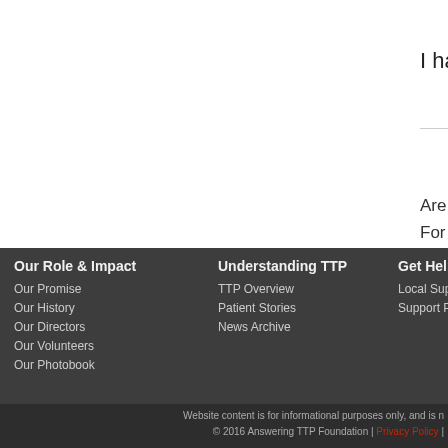I have TTP and I am 3 in 1 MIL
Are you interested in submitting
For more information on subm
Please get involved today.
Our Role & Impact
Our Promise
Our History
Our Directors
Our Volunteers
Our Photobook
Understanding TTP
TTP Overview
Patient Stories
News Archive
Get Help
Local Supp
Support Pr
Website content is for informational purposes only, and is n
© 2016 Answering TTP Foundation | Privacy Policy |